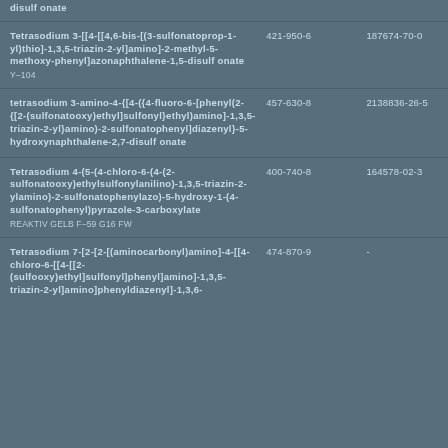disulfonate
Tetrasodium 3-[[4-[[4,6-bis-[(3-sulfonatoprop-1-yl)thio]-1,3,5-triazin-2-yl]amino]-2-methyl-5-methoxyphenyl]azonaphthalene-1,5-disulfonate
421-950-6
187674-70-0
Y-104
tetrasodium 3-amino-4-{[4-({4-fluoro-6-[phenyl(2-{[2-(sulfonatooxy)ethyl]sulfonyl}ethyl)amino]-1,3,5-triazin-2-yl}amino)-2-sulfonatophenyl]diazenyl}-5-hydroxynaphthalene-2,7-disulfonate
457-630-8
2138836-26-5
Tetrasodium 4-(5-(4-chloro-6-(4-(2-sulfonatooxy)ethylsulfonylanilino)-1,3,5-triazin-2-ylamino)-2-sulfonatophenylazo)-5-hydroxy-1-(4-sulfonatophenyl)pyrazole-3-carboxylate
400-740-8
164578-02-3
REAKTIV GELB F-59 G16 FW
Tetrasodium 7-[2-[2-[(aminocarbonyl)amino]-4-[[4-chloro-6-[[4-[[2-(sulfooxy)ethyl]sulfonyl]phenyl]amino]-1,3,5-triazin-2-yl]amino]phenyldiazenyl]-1,3,6-
474-870-9
-